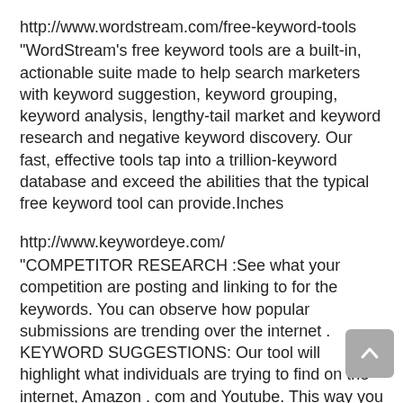http://www.wordstream.com/free-keyword-tools
“WordStream’s free keyword tools are a built-in, actionable suite made to help search marketers with keyword suggestion, keyword grouping, keyword analysis, lengthy-tail market and keyword research and negative keyword discovery. Our fast, effective tools tap into a trillion-keyword database and exceed the abilities that the typical free keyword tool can provide.Inches
http://www.keywordeye.com/
“COMPETITOR RESEARCH :See what your competition are posting and linking to for the keywords. You can observe how popular submissions are trending over the internet . KEYWORD SUGGESTIONS: Our tool will highlight what individuals are trying to find on the internet, Amazon . com and Youtube. This way you will be aware what lengthy tail keywords to focus on. QUESTION FINDER: See what questions individuals are asking, to be able to concentrate on the